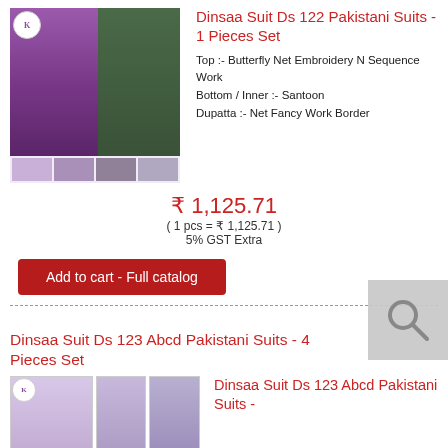[Figure (photo): Product photo of Dinsaa Suit Ds 122 Pakistani Suits - purple embroidery outfit shown on model]
Dinsaa Suit Ds 122 Pakistani Suits - 1 Pieces Set
Top :- Butterfly Net Embroidery N Sequence Work
Bottom / Inner :- Santoon
Dupatta :- Net Fancy Work Border
₹ 1,125.71
( 1 pcs = ₹ 1,125.71 )
5% GST Extra
Add to cart - Full catalog
Dinsaa Suit Ds 123 Abcd Pakistani Suits - 4 Pieces Set
[Figure (photo): Product photo of Dinsaa Suit Ds 123 Abcd Pakistani Suits - lavender outfit]
Dinsaa Suit Ds 123 Abcd Pakistani Suits -